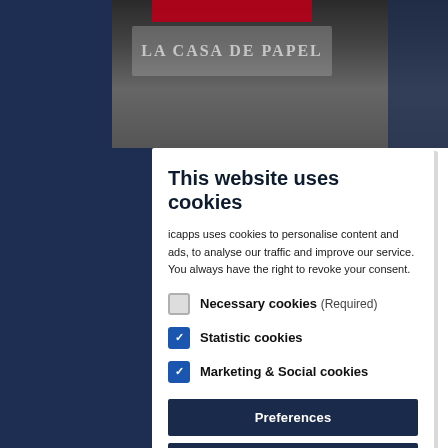[Figure (screenshot): Background showing a dark blue website page with a blurred article header image and partial article title text 'Us... da... Ne...' visible on the left side]
This website uses cookies
icapps uses cookies to personalise content and ads, to analyse our traffic and improve our service. You always have the right to revoke your consent.
Necessary cookies (Required) — unchecked checkbox
Statistic cookies — checked checkbox
Marketing & Social cookies — checked checkbox
Preferences
Save consent
Accept all cookies